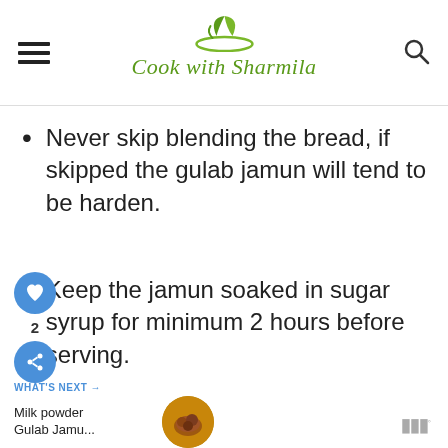Cook with Sharmila
Never skip blending the bread, if skipped the gulab jamun will tend to be harden.
Keep the jamun soaked in sugar syrup for minimum 2 hours before serving.
WHAT'S NEXT → Milk powder Gulab Jamu...